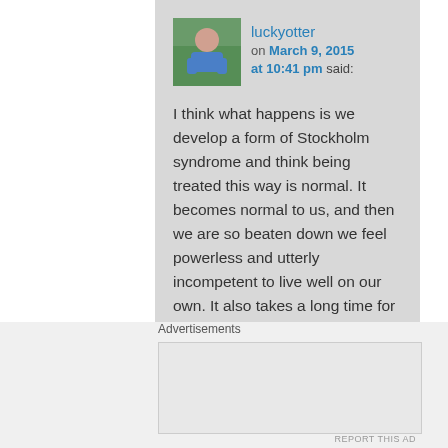luckyotter on March 9, 2015 at 10:41 pm said:
I think what happens is we develop a form of Stockholm syndrome and think being treated this way is normal. It becomes normal to us, and then we are so beaten down we feel powerless and utterly incompetent to live well on our own. It also takes a long time for some of us to leave a narc, if they weren't physically
Advertisements